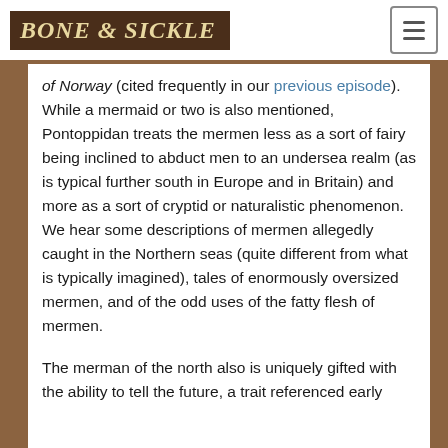BONE & SICKLE
of Norway (cited frequently in our previous episode). While a mermaid or two is also mentioned, Pontoppidan treats the mermen less as a sort of fairy being inclined to abduct men to an undersea realm (as is typical further south in Europe and in Britain) and more as a sort of cryptid or naturalistic phenomenon. We hear some descriptions of mermen allegedly caught in the Northern seas (quite different from what is typically imagined), tales of enormously oversized mermen, and of the odd uses of the fatty flesh of mermen.
The merman of the north also is uniquely gifted with the ability to tell the future, a trait referenced early